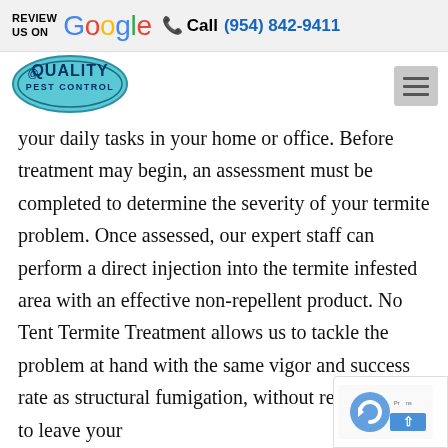REVIEW US ON Google  Call (954) 842-9411
[Figure (logo): Quality Pest Control logo — blue oval with stylized text]
your daily tasks in your home or office. Before treatment may begin, an assessment must be completed to determine the severity of your termite problem. Once assessed, our expert staff can perform a direct injection into the termite infested area with an effective non-repellent product. No Tent Termite Treatment allows us to tackle the problem at hand with the same vigor and success rate as structural fumigation, without requiring you to leave your